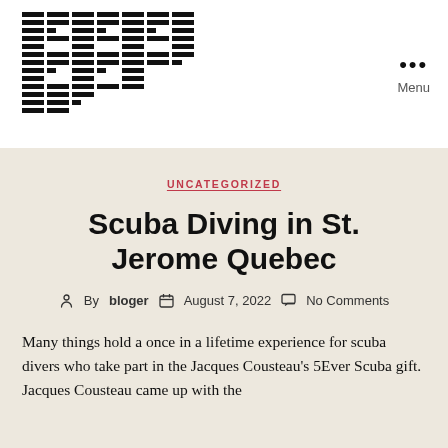Logo / Menu
UNCATEGORIZED
Scuba Diving in St. Jerome Quebec
By bloger   August 7, 2022   No Comments
Many things hold a once in a lifetime experience for scuba divers who take part in the Jacques Cousteau's 5Ever Scuba gift. Jacques Cousteau came up with the